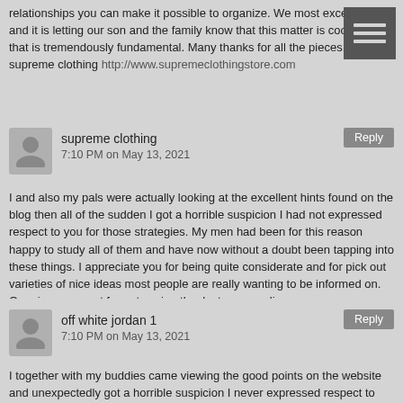relationships you can make it possible to organize. We most excellent, and it is letting our son and the family know that this matter is cool, and that is tremendously fundamental. Many thanks for all the pieces!
supreme clothing http://www.supremeclothingstore.com
supreme clothing
7:10 PM on May 13, 2021
I and also my pals were actually looking at the excellent hints found on the blog then all of the sudden I got a horrible suspicion I had not expressed respect to you for those strategies. My men had been for this reason happy to study all of them and have now without a doubt been tapping into these things. I appreciate you for being quite considerate and for pick out varieties of nice ideas most people are really wanting to be informed on. Our sincere regret for not saying thanks to you earlier.
supreme clothing http://www.supremes-clothing.com
off white jordan 1
7:10 PM on May 13, 2021
I together with my buddies came viewing the good points on the website and unexpectedly got a horrible suspicion I never expressed respect to you for those strategies. All the women became for that reason thrilled to see all of them and have unquestionably been tapping into those things. I appreciate you for being considerably thoughtful as well as for pick out variety of magnificent areas millions